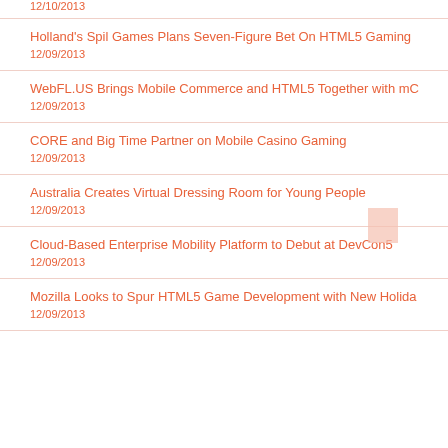12/10/2013
Holland's Spil Games Plans Seven-Figure Bet On HTML5 Gaming
12/09/2013
WebFL.US Brings Mobile Commerce and HTML5 Together with mC...
12/09/2013
CORE and Big Time Partner on Mobile Casino Gaming
12/09/2013
Australia Creates Virtual Dressing Room for Young People
12/09/2013
Cloud-Based Enterprise Mobility Platform to Debut at DevCon5
12/09/2013
Mozilla Looks to Spur HTML5 Game Development with New Holida...
12/09/2013